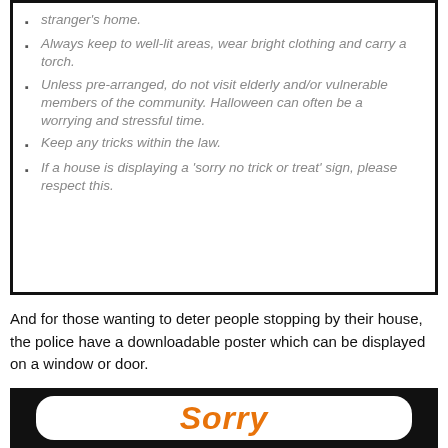stranger's home.
Always keep to well-lit areas, wear bright clothing and carry a torch.
Unless pre-arranged, do not visit elderly and/or vulnerable members of the community. Halloween can often be a worrying and stressful time.
Keep any tricks within the law.
If a house is displaying a 'sorry no trick or treat' sign, please respect this.
And for those wanting to deter people stopping by their house, the police have a downloadable poster which can be displayed on a window or door.
[Figure (photo): Bottom of a poster showing the word 'Sorry' in large bold orange italic text on a white rounded rectangle against a black background.]